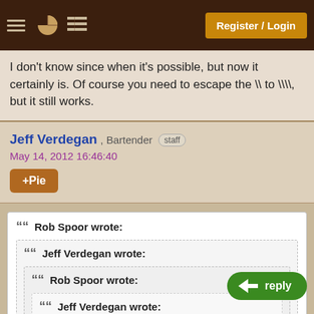Register / Login
I don't know since when it's possible, but now it certainly is. Of course you need to escape the \\ to \\\\, but it still works.
Jeff Verdegan , Bartender staff
May 14, 2012 16:46:40
+Pie
Rob Spoor wrote:
  Jeff Verdegan wrote:
    Rob Spoor wrote:
      Jeff Verdegan wrote:
      The java.io classes that deal with files work on the local file system.